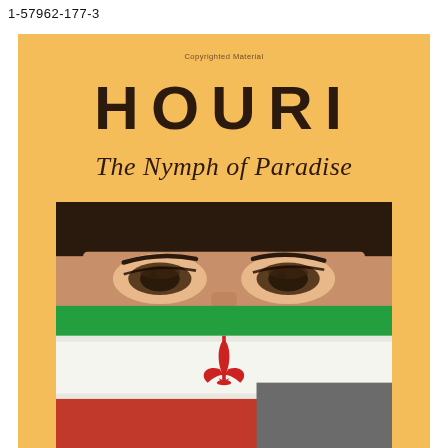1-57962-177-3
[Figure (illustration): Book cover for 'Houri: The Nymph of Paradise'. Orange/yellow background with the title 'HOURI' in large bold uppercase letters, subtitle 'The Nymph of Paradise' in italic serif font. Below is a photograph of a woman's face showing only the eyes, with an Iranian flag covering the lower part of the face. A dark grey rectangle covers the bottom-right corner of the image.]